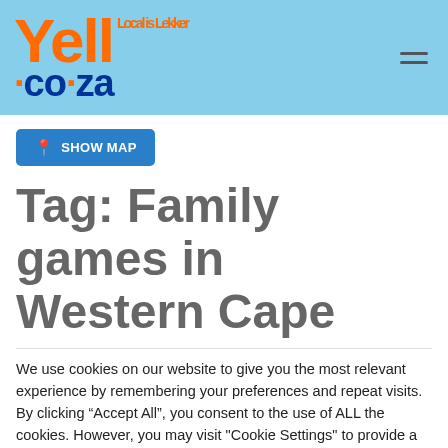Yell Local is Lekker .co.za
[Figure (logo): Yell.co.za logo with tagline 'Local is Lekker' in orange and dark blue on light blue background]
SHOW MAP
Tag: Family games in Western Cape
We use cookies on our website to give you the most relevant experience by remembering your preferences and repeat visits. By clicking “Accept All”, you consent to the use of ALL the cookies. However, you may visit "Cookie Settings" to provide a controlled consent.
Cookie Settings | Accept All